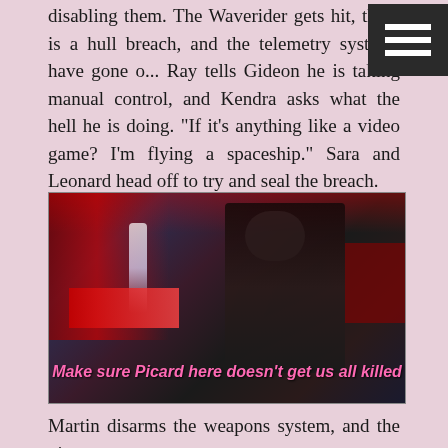disabling them. The Waverider gets hit, there is a hull breach, and the telemetry systems have gone o... Ray tells Gideon he is taking manual control, and Kendra asks what the hell he is doing. "If it's anything like a video game? I'm flying a spaceship." Sara and Leonard head off to try and seal the breach.
[Figure (screenshot): A dark scene from a TV show set aboard a spaceship interior with red glowing panels and a figure in black standing in the center. A subtitle reads: Make sure Picard here doesn't get us all killed]
Martin disarms the weapons system, and the pirates